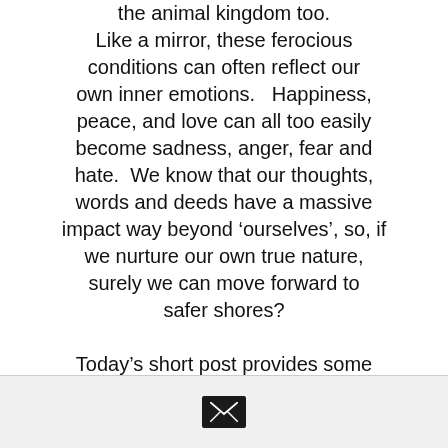the animal kingdom too.  Like a mirror, these ferocious conditions can often reflect our own inner emotions.   Happiness, peace, and love can all too easily become sadness, anger, fear and hate.  We know that our thoughts, words and deeds have a massive impact way beyond 'ourselves', so, if we nurture our own true nature, surely we can move forward to safer shores?  Today's short post provides some guiding words.  Thoughts and prayers and healing to all those in Hurricane Harvey's path this weekend. Peace to all.
[Figure (other): Email envelope icon button in a light gray footer bar]